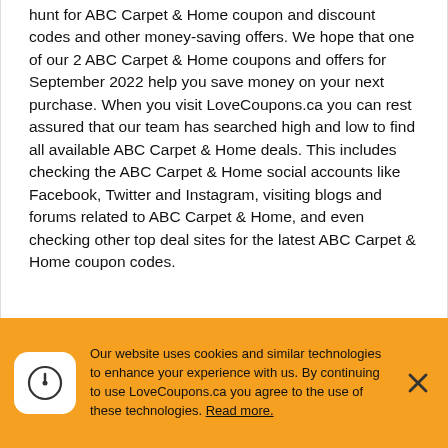hunt for ABC Carpet & Home coupon and discount codes and other money-saving offers. We hope that one of our 2 ABC Carpet & Home coupons and offers for September 2022 help you save money on your next purchase. When you visit LoveCoupons.ca you can rest assured that our team has searched high and low to find all available ABC Carpet & Home deals. This includes checking the ABC Carpet & Home social accounts like Facebook, Twitter and Instagram, visiting blogs and forums related to ABC Carpet & Home, and even checking other top deal sites for the latest ABC Carpet & Home coupon codes.
Our website uses cookies and similar technologies to enhance your experience with us. By continuing to use LoveCoupons.ca you agree to the use of these technologies. Read more.